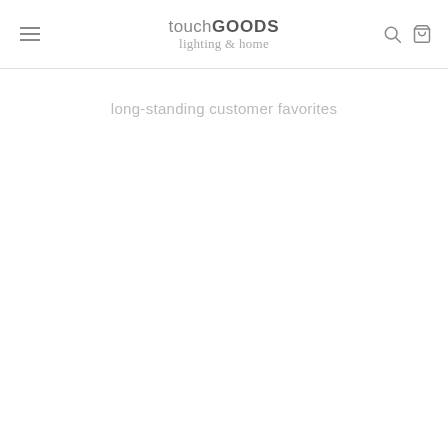touchGOODS lighting & home
long-standing customer favorites